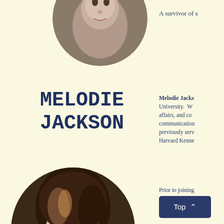[Figure (photo): Partial circular headshot of previous person, only bottom portion visible at top of page]
A survivor of s
MELODIE JACKSON
Melodie Jacks... University. W... affairs, and co... communication... previously serv... Harvard Kenne...
[Figure (photo): Circular headshot photo of Melodie Jackson, a woman with brown hair]
Prior to joining... pub... directed the or...
Top ^